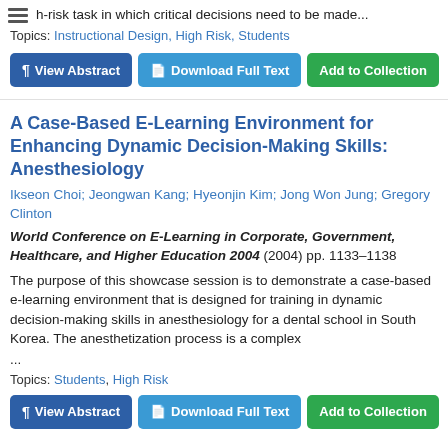…h-risk task in which critical decisions need to be made...
Topics: Instructional Design, High Risk, Students
¶ View Abstract | Download Full Text | Add to Collection
A Case-Based E-Learning Environment for Enhancing Dynamic Decision-Making Skills: Anesthesiology
Ikseon Choi; Jeongwan Kang; Hyeonjin Kim; Jong Won Jung; Gregory Clinton
World Conference on E-Learning in Corporate, Government, Healthcare, and Higher Education 2004 (2004) pp. 1133–1138
The purpose of this showcase session is to demonstrate a case-based e-learning environment that is designed for training in dynamic decision-making skills in anesthesiology for a dental school in South Korea. The anesthetization process is a complex
...
Topics: Students, High Risk
¶ View Abstract | Download Full Text | Add to Collection